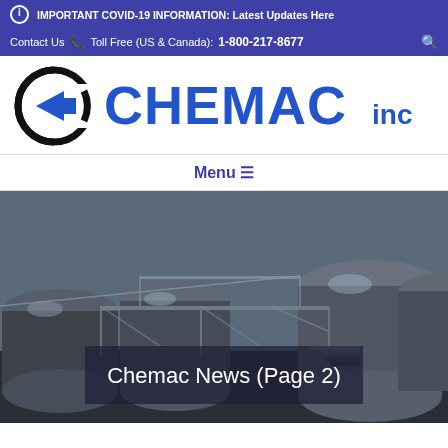IMPORTANT COVID-19 INFORMATION: Latest Updates Here
Contact Us  Toll Free (US & Canada): 1-800-217-8677
[Figure (logo): Chemac Inc logo with circular C arrow emblem in black and blue, followed by CHEMAC inc in blue text]
Menu ≡
[Figure (photo): Industrial chemical storage tanks and pipes viewed from above, with metal walkways and stairs, blue-grey industrial setting]
Chemac News (Page 2)